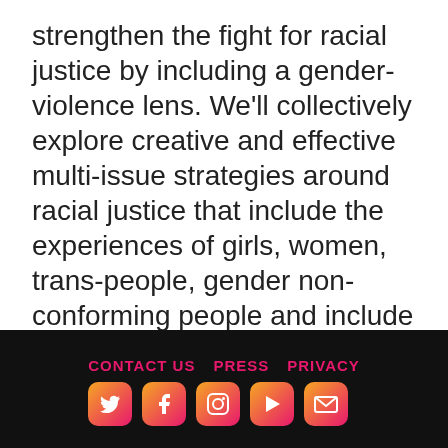strengthen the fight for racial justice by including a gender-violence lens. We'll collectively explore creative and effective multi-issue strategies around racial justice that include the experiences of girls, women, trans-people, gender non-conforming people and include girls.
Speakers: Jamia Wilson, Joanne N. Smith, Eesha Pandit, Farah Tanis
CONTACT US   PRESS   PRIVACY